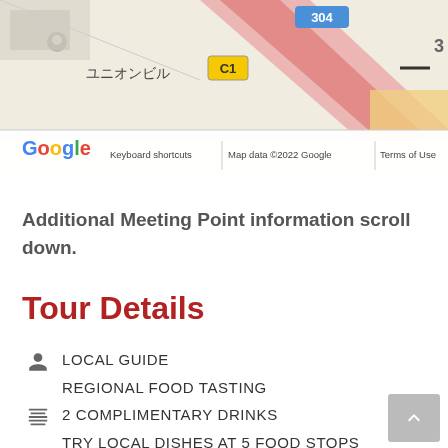[Figure (screenshot): Google Maps screenshot showing a street map with Japanese text (ユニオンビル), road marker C1, route 304, Google logo, and footer text: Keyboard shortcuts | Map data ©2022 Google | Terms of Use]
Additional Meeting Point information scroll down.
Tour Details
LOCAL GUIDE
REGIONAL FOOD TASTING
2 COMPLIMENTARY DRINKS
TRY LOCAL DISHES AT 5 FOOD STOPS
WALKING LEVEL ADVANCED
DESSERT INCLUDED
FAMILY-FRIENDLY (HOWEVER– NO